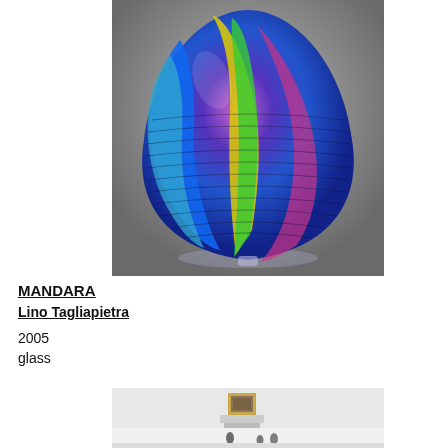[Figure (photo): A colorful blown glass sculpture in a teardrop/onion shape with swirling bands of blue, yellow, green, pink, and purple against a grey background. The piece rests on a thin clear glass base.]
MANDARA
Lino Tagliapietra
2005
glass
[Figure (photo): A gallery installation view showing a small framed painting on a white wall, with a decorative object or furniture piece below it, partially cropped.]